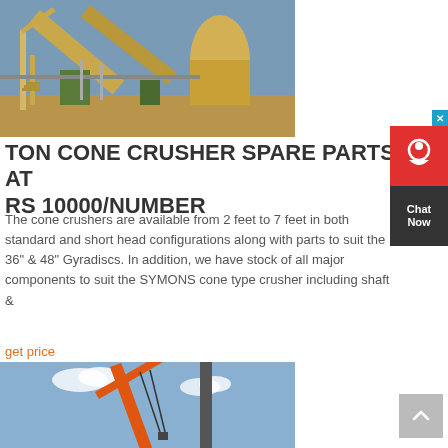[Figure (photo): Industrial cone crusher / mining equipment facility with conveyor belts and yellow structural frames against a blue sky]
TON CONE CRUSHER SPARE PARTS AT RS 10000/NUMBER
The cone crushers are available from 2 feet to 7 feet in both standard and short head configurations along with parts to suit the 36" & 48" Gyradiscs. In addition, we have stock of all major components to suit the SYMONS cone type crusher including shaft &
get price
[Figure (photo): Orange crane or lifting equipment against a blue sky with clouds]